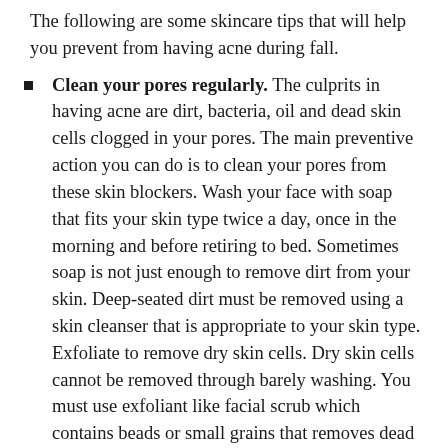The following are some skincare tips that will help you prevent from having acne during fall.
Clean your pores regularly. The culprits in having acne are dirt, bacteria, oil and dead skin cells clogged in your pores. The main preventive action you can do is to clean your pores from these skin blockers. Wash your face with soap that fits your skin type twice a day, once in the morning and before retiring to bed. Sometimes soap is not just enough to remove dirt from your skin. Deep-seated dirt must be removed using a skin cleanser that is appropriate to your skin type. Exfoliate to remove dry skin cells. Dry skin cells cannot be removed through barely washing. You must use exfoliant like facial scrub which contains beads or small grains that removes dead skin.
Eat fruits and veggies and drink plenty of water. Help your skin combat skin dryness. To do this, eat fruits and vegetables rich in retinol. Retinol is